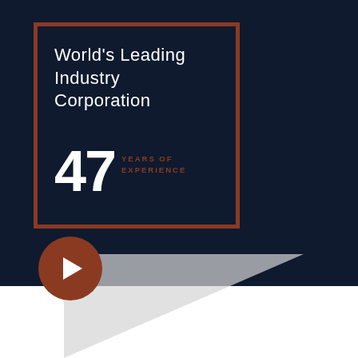[Figure (infographic): Dark navy blue background with a rust/brown double-border box containing the text 'World's Leading Industry Corporation' and '47 YEARS OF EXPERIENCE'. A red circular play button is positioned at the bottom-left overlapping the dark area and a gray diagonal shape below.]
World's Leading Industry Corporation
47 YEARS OF EXPERIENCE